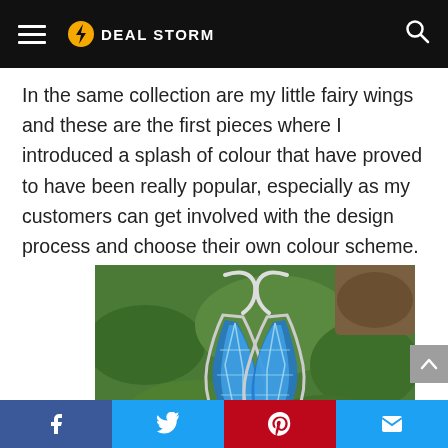Deal Storm
In the same collection are my little fairy wings and these are the first pieces where I introduced a splash of colour that have proved to have been really popular, especially as my customers can get involved with the design process and choose their own colour scheme.
[Figure (photo): Two fairy wing earrings with blue enamel detailing, silver wire frame, displayed on green moss background.]
Social share bar: Facebook, Twitter, Pinterest, Email